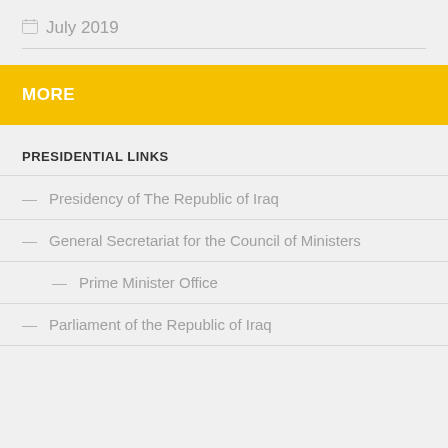July 2019
MORE
PRESIDENTIAL LINKS
Presidency of The Republic of Iraq
General Secretariat for the Council of Ministers
Prime Minister Office
Parliament of the Republic of Iraq